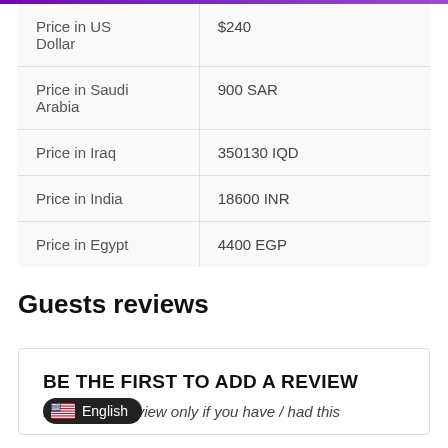|  |  |
| --- | --- |
| Price in US Dollar | $240 |
| Price in Saudi Arabia | 900 SAR |
| Price in Iraq | 350130 IQD |
| Price in India | 18600 INR |
| Price in Egypt | 4400 EGP |
Guests reviews
BE THE FIRST TO ADD A REVIEW
P…ser review only if you have / had this